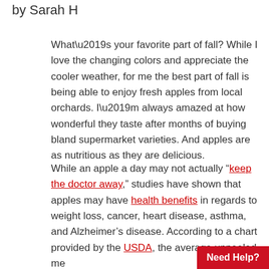by Sarah H
What’s your favorite part of fall? While I love the changing colors and appreciate the cooler weather, for me the best part of fall is being able to enjoy fresh apples from local orchards. I’m always amazed at how wonderful they taste after months of buying bland supermarket varieties. And apples are as nutritious as they are delicious.
While an apple a day may not actually “keep the doctor away,” studies have shown that apples may have health benefits in regards to weight loss, cancer, heart disease, asthma, and Alzheimer’s disease. According to a chart provided by the USDA, the average unpeeled me